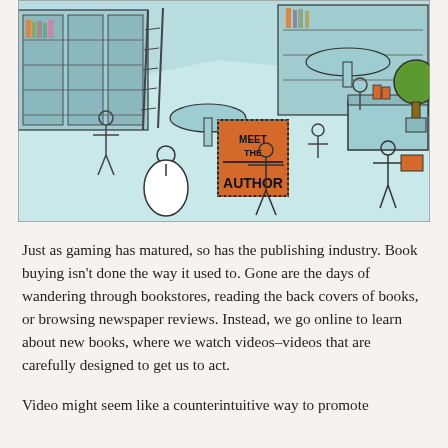[Figure (illustration): Isometric illustration of a bookstore interior with multiple people browsing, reading, and interacting. A prominent orange 'Meet the Author' sign is visible in the center. Bookshelves, tables, and a checkout counter are depicted in a light blue/teal color scheme with black ink outlines.]
Just as gaming has matured, so has the publishing industry. Book buying isn't done the way it used to. Gone are the days of wandering through bookstores, reading the back covers of books, or browsing newspaper reviews. Instead, we go online to learn about new books, where we watch videos–videos that are carefully designed to get us to act.
Video might seem like a counterintuitive way to promote